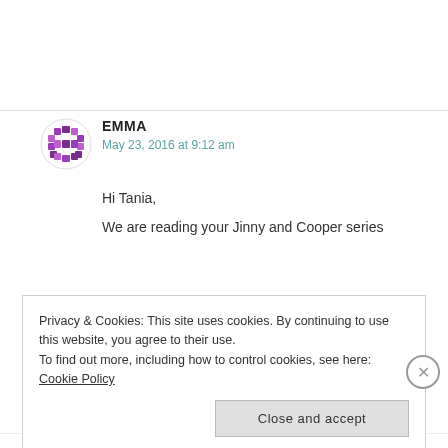EMMA
May 23, 2016 at 9:12 am
Hi Tania,
We are reading your Jinny and Cooper series
Privacy & Cookies: This site uses cookies. By continuing to use this website, you agree to their use.
To find out more, including how to control cookies, see here: Cookie Policy
Close and accept